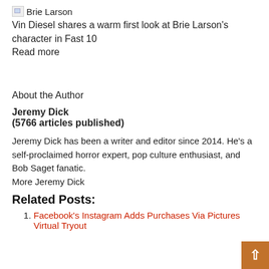[Figure (photo): Broken image placeholder labeled 'Brie Larson']
Vin Diesel shares a warm first look at Brie Larson's character in Fast 10
Read more
About the Author
Jeremy Dick
(5766 articles published)
Jeremy Dick has been a writer and editor since 2014. He's a self-proclaimed horror expert, pop culture enthusiast, and Bob Saget fanatic.
More Jeremy Dick
Related Posts:
Facebook's Instagram Adds Purchases Via Pictures Virtual Tryout